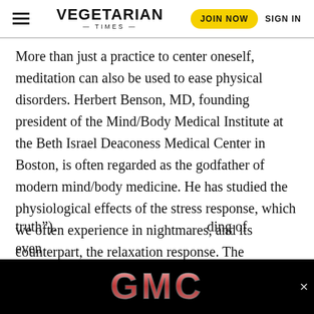VEGETARIAN TIMES | JOIN NOW | SIGN IN
More than just a practice to center oneself, meditation can also be used to ease physical disorders. Herbert Benson, MD, founding president of the Mind/Body Medical Institute at the Beth Israel Deaconess Medical Center in Boston, is often regarded as the godfather of modern mind/body medicine. He has studied the physiological effects of the stress response, which we often experience in nightmares, and its counterpart, the relaxation response. The relaxation response is a physical reaction elicited by meditation. “Unlike the stress response, which is automatic,” says Benson, “the relaxation response requires two steps. First is a repetitive motion or sound phase.” This phase is often accomplished through various forms of meditation using breath, movement or repetition of a certain word or phrase such as “om” or “sat nam” (Sanskrit for “I am truth”), … …ding of even…
[Figure (logo): GMC brand logo — red metallic letters GMC on black background]